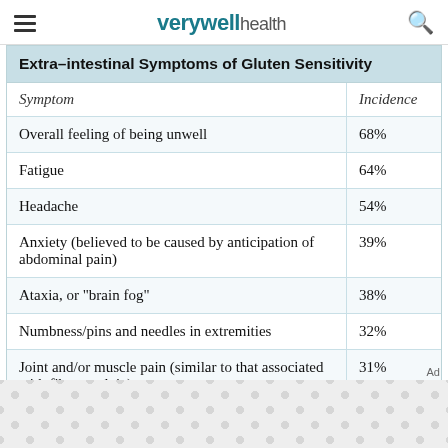verywell health
| Symptom | Incidence |
| --- | --- |
| Overall feeling of being unwell | 68% |
| Fatigue | 64% |
| Headache | 54% |
| Anxiety (believed to be caused by anticipation of abdominal pain) | 39% |
| Ataxia, or "brain fog" | 38% |
| Numbness/pins and needles in extremities | 32% |
| Joint and/or muscle pain (similar to that associated with fibromyalgia) | 31% |